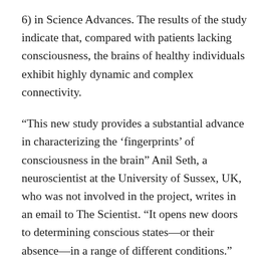6) in Science Advances. The results of the study indicate that, compared with patients lacking consciousness, the brains of healthy individuals exhibit highly dynamic and complex connectivity.
“This new study provides a substantial advance in characterizing the ‘fingerprints’ of consciousness in the brain” Anil Seth, a neuroscientist at the University of Sussex, UK, who was not involved in the project, writes in an email to The Scientist. “It opens new doors to determining conscious states—or their absence—in a range of different conditions.”
A person can lose consciousness temporarily, such as during sleep or anesthesia, or more permanently as is